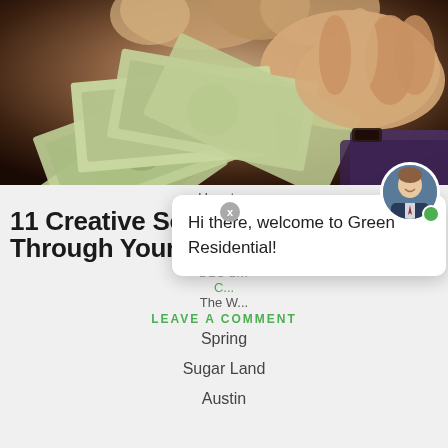[Figure (photo): Hands holding and counting US $100 dollar bills, fan of cash notes against dark background]
Houston
11 Creative Sources of Income Through Your Rental Property
DEC 2...
C...
The W...
LEAVE A COMMENT
Spring
Sugar Land
Austin
Hi there, welcome to Green Residential!